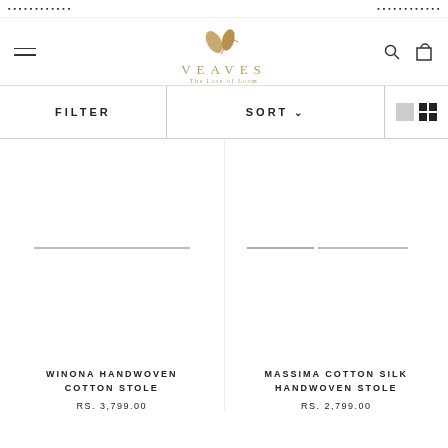VEAVES — The Lore of Loom
FILTER
SORT
[Figure (screenshot): Product image placeholder for WINONA HANDWOVEN COTTON STOLE]
WINONA HANDWOVEN COTTON STOLE
RS. 3,799.00
[Figure (screenshot): Product image placeholder for MASSIMA COTTON SILK HANDWOVEN STOLE]
MASSIMA COTTON SILK HANDWOVEN STOLE
RS. 2,799.00